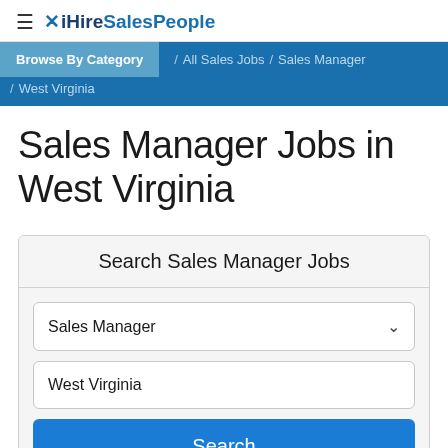≡ ✗ iHireSalesPeople
Browse By Category / All Sales Jobs / Sales Manager / West Virginia
Sales Manager Jobs in West Virginia
Search Sales Manager Jobs
Sales Manager
West Virginia
Search